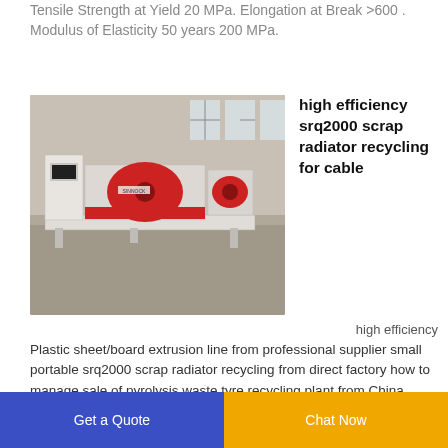Tensile Strength at Yield 20 MPa. Elongation at Break >600 . Modulus of Elasticity 50 years 200 MPa.
[Figure (photo): Industrial machine - high efficiency srq2000 scrap radiator recycling equipment, white and red machine in a warehouse/factory setting]
high efficiency srq2000 scrap radiator recycling for cable
high efficiency
Plastic sheet/board extrusion line from professional supplier small portable srq2000 scrap radiator recycling from direct factory how to manage sale of pyrolysis waste tyre recycling plant from China
Get a Quote  Chat Now